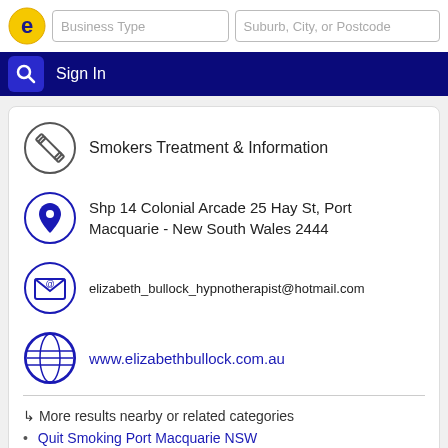[Figure (screenshot): Website header with yellow 'e' logo circle, two search input fields labeled 'Business Type' and 'Suburb, City, or Postcode']
[Figure (screenshot): Navigation bar with search icon button and 'Sign In' text on dark navy background]
Smokers Treatment & Information
Shp 14 Colonial Arcade 25 Hay St, Port Macquarie - New South Wales 2444
elizabeth_bullock_hypnotherapist@hotmail.com
www.elizabethbullock.com.au
↳ More results nearby or related categories
Quit Smoking Port Macquarie NSW
Yastac Lindsay R & Associates